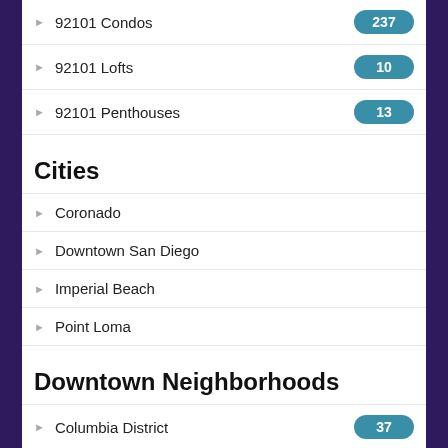92101 Condos
92101 Lofts
92101 Penthouses
Cities
Coronado
Downtown San Diego
Imperial Beach
Point Loma
Downtown Neighborhoods
Columbia District
Core
Cortez Hill
East Village
Gaslamp